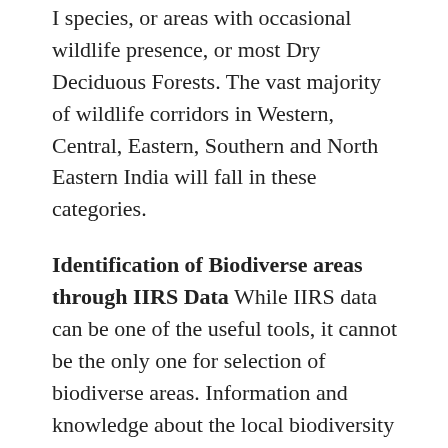I species, or areas with occasional wildlife presence, or most Dry Deciduous Forests. The vast majority of wildlife corridors in Western, Central, Eastern, Southern and North Eastern India will fall in these categories.
Identification of Biodiverse areas through IIRS Data While IIRS data can be one of the useful tools, it cannot be the only one for selection of biodiverse areas. Information and knowledge about the local biodiversity through the involvement of the local communities, academics and civil society should also be used in this process. Under the National Biodiversity Authority Act, Peoples Biodiversity Registers were mandated. Hundreds of villages across India